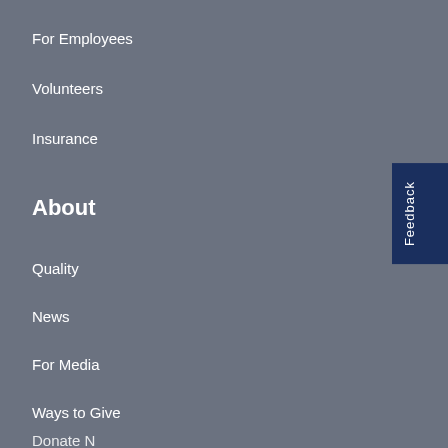For Employees
Volunteers
Insurance
About
Quality
News
For Media
Ways to Give
Donate N…
Feedback